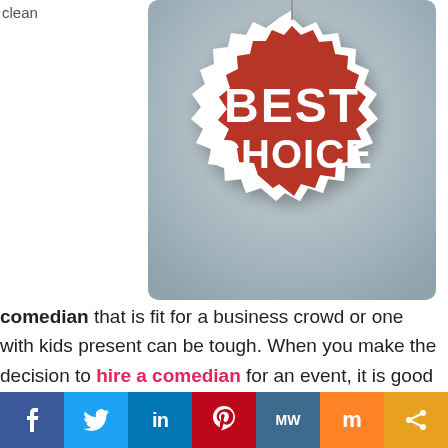clean
[Figure (illustration): A red starburst/badge seal with white text reading 'BEST CHOICE' on a light blue-grey rounded rectangle background]
comedian that is fit for a business crowd or one with kids present can be tough. When you make the decision to hire a comedian for an event, it is good to consider what type of people will be there, what the age group will be and if there is a theme to the event. It may be necessary to find someone funny who is not only making corny jokes while
[Figure (infographic): Social media sharing bar with buttons for Facebook, Twitter, LinkedIn, Pinterest, MixW, Mix, and Share]